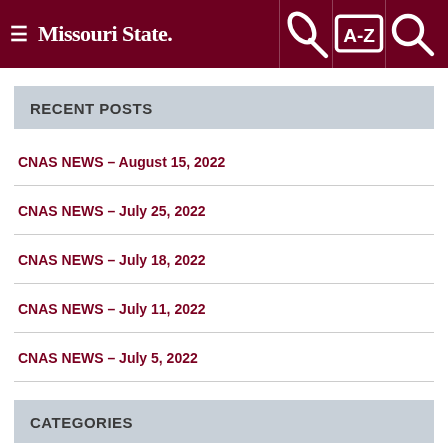Missouri State
RECENT POSTS
CNAS NEWS – August 15, 2022
CNAS NEWS – July 25, 2022
CNAS NEWS – July 18, 2022
CNAS NEWS – July 11, 2022
CNAS NEWS – July 5, 2022
CATEGORIES